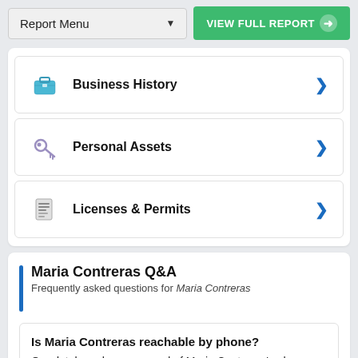Report Menu | VIEW FULL REPORT
Business History
Personal Assets
Licenses & Permits
Maria Contreras Q&A
Frequently asked questions for Maria Contreras
Is Maria Contreras reachable by phone?
Our database has no record of Maria Contreras's phone number.